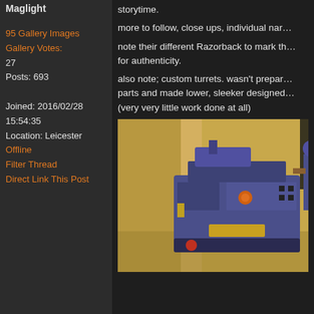Maglight
95 Gallery Images
Gallery Votes: 27
Posts: 693

Joined: 2016/02/28 15:54:35
Location: Leicester
Offline
Filter Thread
Direct Link This Post
storytime.
more to follow, close ups, individual nar...
note their different Razorback to mark th... for authenticity.
also note; custom turrets. wasn't prepar... parts and made lower, sleeker designed... (very very little work done at all)
[Figure (photo): Photo of a Warhammer 40K Space Marines miniature vehicle (Razorback), painted in dark blue/purple, with a custom turret, positioned in front of a wooden background. A figure is partially visible on the right.]